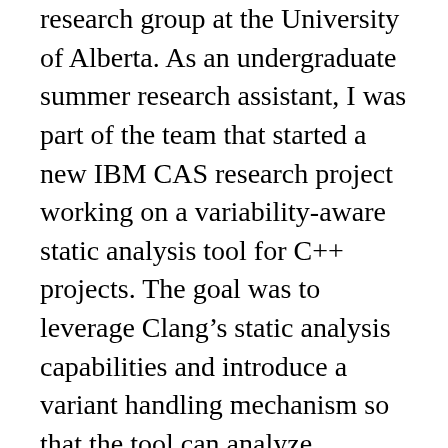research group at the University of Alberta. As an undergraduate summer research assistant, I was part of the team that started a new IBM CAS research project working on a variability-aware static analysis tool for C++ projects. The goal was to leverage Clang's static analysis capabilities and introduce a variant handling mechanism so that the tool can analyze multiple build variants simultaneously and report errors in any configuration. Such a tool would help eliminate errors that only manifest themselves in certain build configurations. This project was motivated by the OMR Compiler's complex variability mechanism making use of -D directives as well varying the -I paths to determine the inheritance hierarchy for its extensible classes.